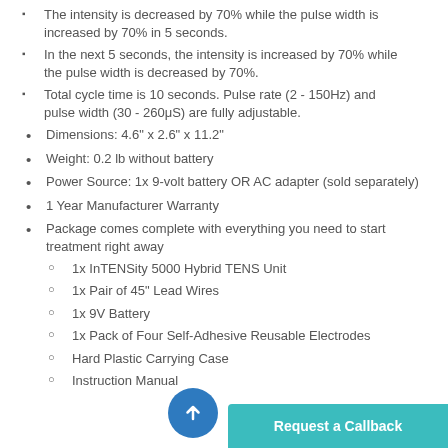The intensity is decreased by 70% while the pulse width is increased by 70% in 5 seconds.
In the next 5 seconds, the intensity is increased by 70% while the pulse width is decreased by 70%.
Total cycle time is 10 seconds. Pulse rate (2 - 150Hz) and pulse width (30 - 260μS) are fully adjustable.
Dimensions: 4.6" x 2.6" x 11.2"
Weight: 0.2 lb without battery
Power Source: 1x 9-volt battery OR AC adapter (sold separately)
1 Year Manufacturer Warranty
Package comes complete with everything you need to start treatment right away
1x InTENSity 5000 Hybrid TENS Unit
1x Pair of 45" Lead Wires
1x 9V Battery
1x Pack of Four Self-Adhesive Reusable Electrodes
Hard Plastic Carrying Case
Instruction Manual